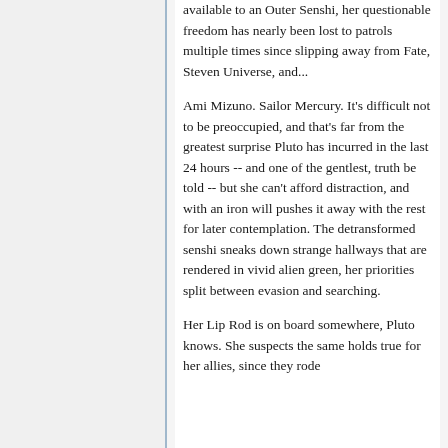available to an Outer Senshi, her questionable freedom has nearly been lost to patrols multiple times since slipping away from Fate, Steven Universe, and...
Ami Mizuno. Sailor Mercury. It's difficult not to be preoccupied, and that's far from the greatest surprise Pluto has incurred in the last 24 hours -- and one of the gentlest, truth be told -- but she can't afford distraction, and with an iron will pushes it away with the rest for later contemplation. The detransformed senshi sneaks down strange hallways that are rendered in vivid alien green, her priorities split between evasion and searching.
Her Lip Rod is on board somewhere, Pluto knows. She suspects the same holds true for her allies, since they rode